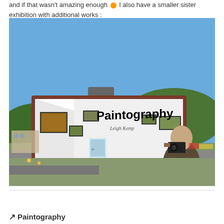and if that wasn't amazing enough 🟠 I also have a smaller sister exhibition with additional works :
[Figure (photo): A billboard displaying 'Paintography by Leigh Kemp – Additional Works' showing an art gallery interior with paintings, set against a blue sky background. A man with a camera is visible in the foreground on the right side.]
🔀 Paintography